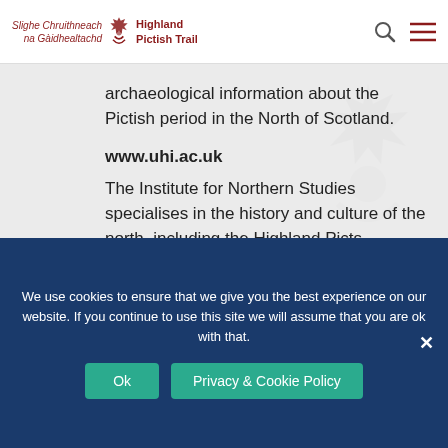Slighe Chruithneach na Gàidhealtachd | Highland Pictish Trail
archaeological information about the Pictish period in the North of Scotland.
www.uhi.ac.uk
The Institute for Northern Studies specialises in the history and culture of the north, including the Highland Picts.
www.thepictishartssociety.org.uk
We use cookies to ensure that we give you the best experience on our website. If you continue to use this site we will assume that you are ok with that.